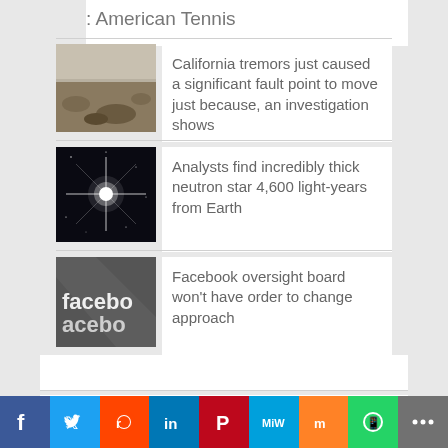: American Tennis
[Figure (photo): Desert landscape with rocks and scrub]
California tremors just caused a significant fault point to move just because, an investigation shows
[Figure (photo): Bright star or neutron star image on black background]
Analysts find incredibly thick neutron star 4,600 light-years from Earth
[Figure (photo): Facebook sign close-up]
Facebook oversight board won't have order to change approach
Related Posts
Social share bar: Facebook, Twitter, Reddit, LinkedIn, Pinterest, MeWe, Mix, WhatsApp, More